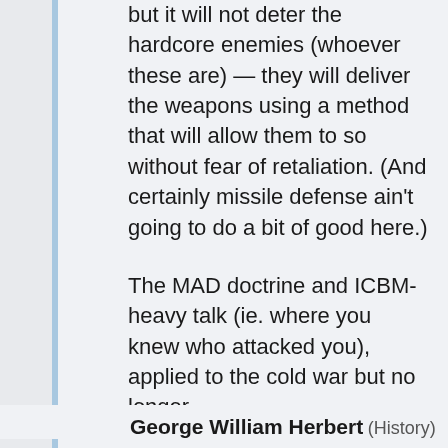but it will not deter the hardcore enemies (whoever these are) — they will deliver the weapons using a method that will allow them to so without fear of retaliation. (And certainly missile defense ain't going to do a bit of good here.)
The MAD doctrine and ICBM-heavy talk (ie. where you knew who attacked you), applied to the cold war but no longer.
Without attribution, you have no deterrence.
George William Herbert (History)